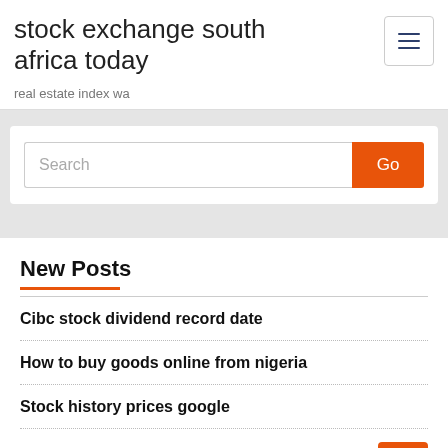stock exchange south africa today
real estate index wa
[Figure (screenshot): Search bar with text input and orange Go button]
New Posts
Cibc stock dividend record date
How to buy goods online from nigeria
Stock history prices google
Buy stocks with credit card